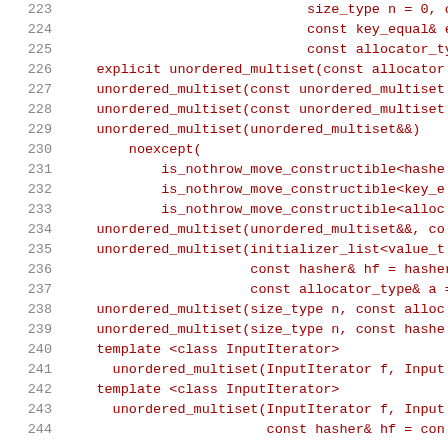[Figure (screenshot): Source code listing showing C++ unordered_multiset constructor declarations, lines 223-244, with line numbers in gray and code in dark red monospace font.]